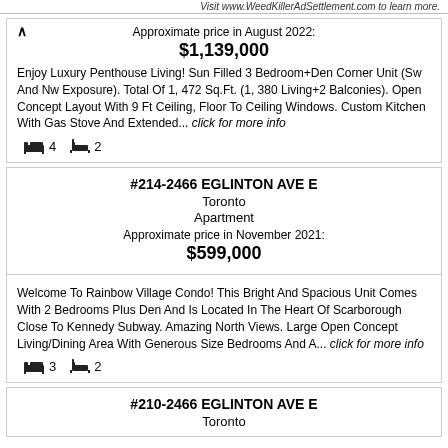Visit www.WeedKillerAdSettlement.com to learn more.
Approximate price in August 2022: $1,139,000
Enjoy Luxury Penthouse Living! Sun Filled 3 Bedroom+Den Corner Unit (Sw And Nw Exposure). Total Of 1, 472 Sq.Ft. (1, 380 Living+2 Balconies). Open Concept Layout With 9 Ft Ceiling, Floor To Ceiling Windows. Custom Kitchen With Gas Stove And Extended... click for more info
4 bedrooms, 2 bathrooms
#214-2466 EGLINTON AVE E
Toronto
Apartment
Approximate price in November 2021: $599,000
Welcome To Rainbow Village Condo! This Bright And Spacious Unit Comes With 2 Bedrooms Plus Den And Is Located In The Heart Of Scarborough Close To Kennedy Subway. Amazing North Views. Large Open Concept Living/Dining Area With Generous Size Bedrooms And A... click for more info
3 bedrooms, 2 bathrooms
#210-2466 EGLINTON AVE E
Toronto